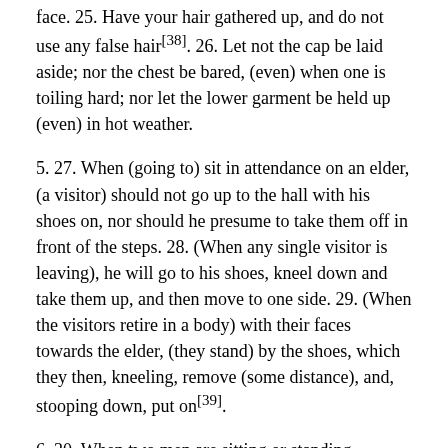face. 25. Have your hair gathered up, and do not use any false hair[38]. 26. Let not the cap be laid aside; nor the chest be bared, (even) when one is toiling hard; nor let the lower garment be held up (even) in hot weather.
5. 27. When (going to) sit in attendance on an elder, (a visitor) should not go up to the hall with his shoes on, nor should he presume to take them off in front of the steps. 28. (When any single visitor is leaving), he will go to his shoes, kneel down and take them up, and then move to one side. 29. (When the visitors retire in a body) with their faces towards the elder, (they stand) by the shoes, which they then, kneeling, remove (some distance), and, stooping down, put on[39].
6. 30. When two men are sitting or standing together, do not join them as a third. When two are standing together, another should not pass between them. 31. Male and